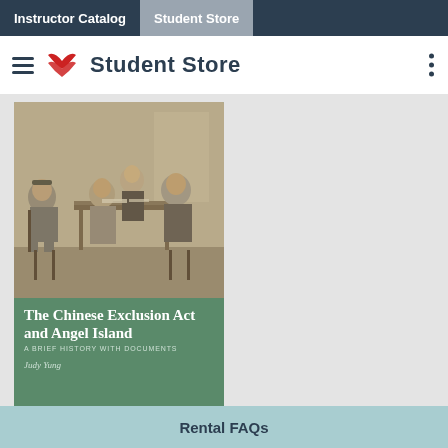Instructor Catalog | Student Store
Student Store
[Figure (photo): Book cover for 'The Chinese Exclusion Act and Angel Island: A Brief History with Documents' by Judy Yung. Green cover with a sepia photograph of people seated at a table in an interview or examination setting.]
Rental FAQs